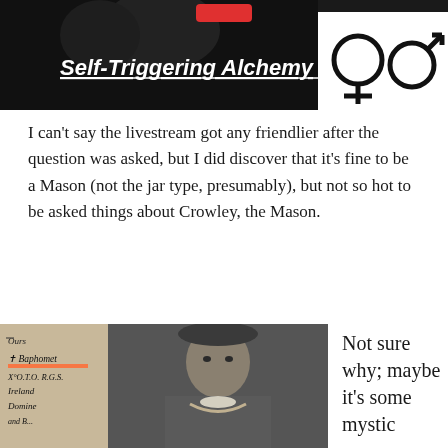[Figure (screenshot): Video thumbnail with dark background showing 'Self-Triggering Alchemy' title in bold italic white text with underline, and gender symbols (female and male) on the right side on a black/white background. A red button is visible at the top center.]
I can't say the livestream got any friendlier after the question was asked, but I did discover that it's fine to be a Mason (not the jar type, presumably), but not so hot to be asked things about Crowley, the Mason.
[Figure (photo): Black and white photograph of Aleister Crowley in Masonic regalia with a medallion chain, wearing a military-style hat. To the left is handwritten text on paper reading 'Ours', 'Baphomet', 'X°O.T.O. R.G.S.', 'Ireland', 'Domine', and other text, with an orange horizontal line highlighting 'Baphomet'.]
Not sure why; maybe it's some mystic